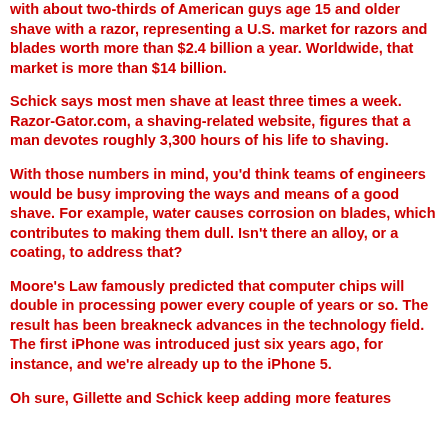with about two-thirds of American guys age 15 and older shave with a razor, representing a U.S. market for razors and blades worth more than $2.4 billion a year. Worldwide, that market is more than $14 billion.
Schick says most men shave at least three times a week. Razor-Gator.com, a shaving-related website, figures that a man devotes roughly 3,300 hours of his life to shaving.
With those numbers in mind, you'd think teams of engineers would be busy improving the ways and means of a good shave. For example, water causes corrosion on blades, which contributes to making them dull. Isn't there an alloy, or a coating, to address that?
Moore's Law famously predicted that computer chips will double in processing power every couple of years or so. The result has been breakneck advances in the technology field. The first iPhone was introduced just six years ago, for instance, and we're already up to the iPhone 5.
Oh sure, Gillette and Schick keep adding more features